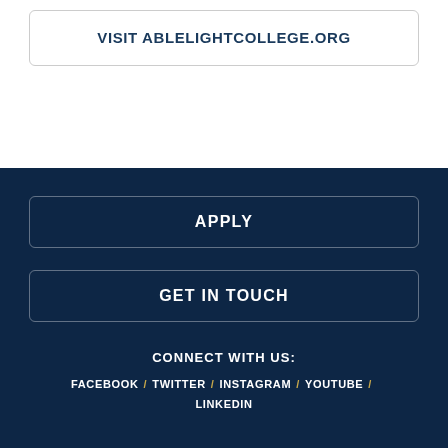VISIT ABLELIGHTCOLLEGE.ORG
APPLY
GET IN TOUCH
CONNECT WITH US:
FACEBOOK / TWITTER / INSTAGRAM / YOUTUBE / LINKEDIN